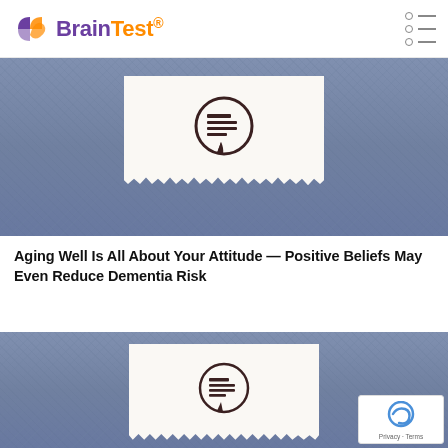BrainTest
[Figure (photo): Denim fabric background with a white torn paper note showing a speech bubble with lines icon, representing a blog article thumbnail]
Aging Well Is All About Your Attitude — Positive Beliefs May Even Reduce Dementia Risk
[Figure (photo): Denim fabric background with a white torn paper note showing a speech bubble with lines icon, representing a second blog article thumbnail]